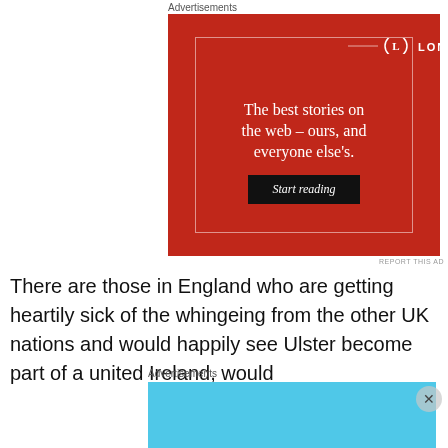Advertisements
[Figure (illustration): Longreads advertisement on red background with tagline 'The best stories on the web – ours, and everyone else's.' and a 'Start reading' button.]
There are those in England who are getting heartily sick of the whingeing from the other UK nations and would happily see Ulster become part of a united Ireland, would
Advertisements
[Figure (illustration): Day One journaling app advertisement on light blue background with text 'The only journaling app you'll ever need.']